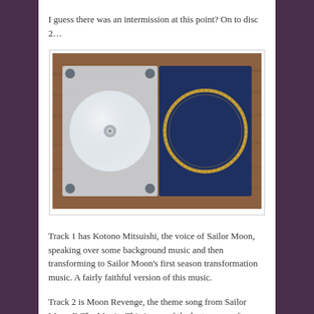I guess there was an intermission at this point? On to disc 2…
[Figure (photo): Open CD jewel case on a wooden surface. Left side shows a white/translucent disc in a clear plastic tray. Right side shows a navy blue booklet/insert with a decorative gold circular border design.]
Track 1 has Kotono Mitsuishi, the voice of Sailor Moon, speaking over some background music and then transforming to Sailor Moon's first season transformation music. A fairly faithful version of this music.
Track 2 is Moon Revenge, the theme song from Sailor Moon R The Movie. This is one of the better songs from